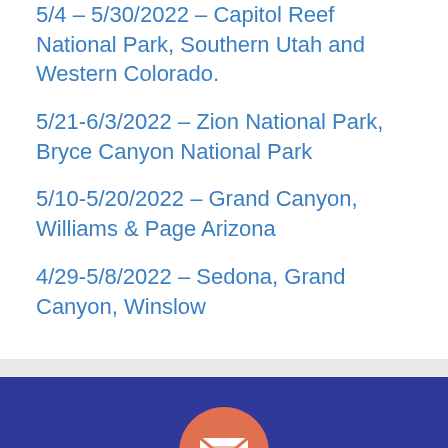5/4 – 5/30/2022 – Capitol Reef National Park, Southern Utah and Western Colorado.
5/21-6/3/2022 – Zion National Park, Bryce Canyon National Park
5/10-5/20/2022 – Grand Canyon, Williams & Page Arizona
4/29-5/8/2022 – Sedona, Grand Canyon, Winslow
[Figure (illustration): Email envelope icon inside a salmon/orange circle on a dark blue background, above a newsletter subscription section]
Subscribe To Our Newsletter